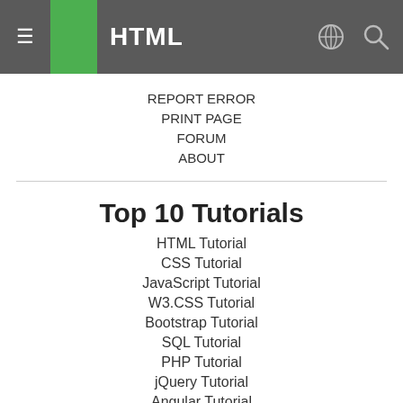HTML
REPORT ERROR
PRINT PAGE
FORUM
ABOUT
Top 10 Tutorials
HTML Tutorial
CSS Tutorial
JavaScript Tutorial
W3.CSS Tutorial
Bootstrap Tutorial
SQL Tutorial
PHP Tutorial
jQuery Tutorial
Angular Tutorial
XML Tutorial
Top 10 References